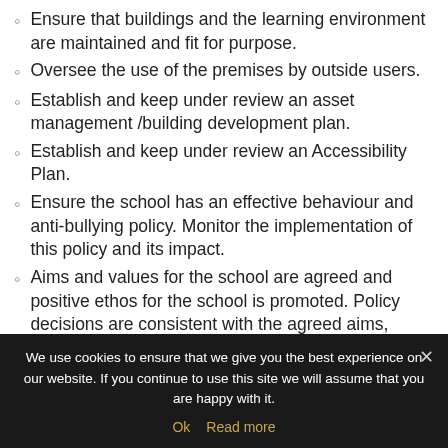Ensure that buildings and the learning environment are maintained and fit for purpose.
Oversee the use of the premises by outside users.
Establish and keep under review an asset management /building development plan.
Establish and keep under review an Accessibility Plan.
Ensure the school has an effective behaviour and anti-bullying policy. Monitor the implementation of this policy and its impact.
Aims and values for the school are agreed and positive ethos for the school is promoted. Policy decisions are consistent with the agreed aims, values and ethos.
We use cookies to ensure that we give you the best experience on our website. If you continue to use this site we will assume that you are happy with it. Ok  Read more